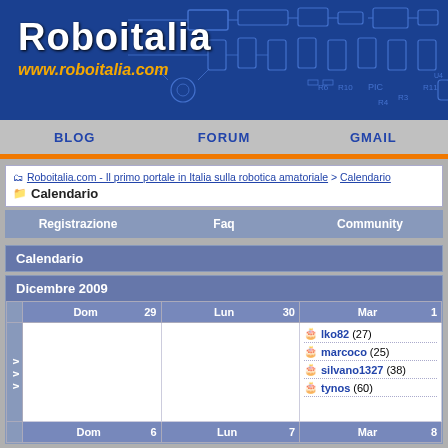[Figure (screenshot): Roboitalia website banner with circuit board background, white logo text 'Roboitalia' and orange URL 'www.roboitalia.com']
BLOG  FORUM  GMAIL
Roboitalia.com - Il primo portale in Italia sulla robotica amatoriale > Calendario
Calendario
| Registrazione | Faq | Community |
| --- | --- | --- |
Calendario
Dicembre 2009
|  | Dom 29 | Lun 30 | Mar 1 |
| --- | --- | --- | --- |
| v v v |  |  | lko82 (27)
marcoco (25)
silvano1327 (38)
tynos (60) |
|  | Dom 6 | Lun 7 | Mar 8 |